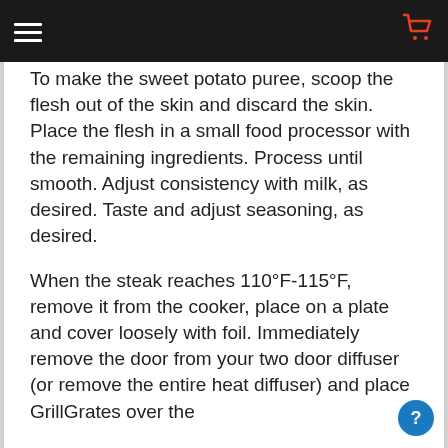To make the sweet potato puree, scoop the flesh out of the skin and discard the skin. Place the flesh in a small food processor with the remaining ingredients. Process until smooth. Adjust consistency with milk, as desired. Taste and adjust seasoning, as desired.
When the steak reaches 110°F-115°F, remove it from the cooker, place on a plate and cover loosely with foil. Immediately remove the door from your two door diffuser (or remove the entire heat diffuser) and place GrillGrates over the